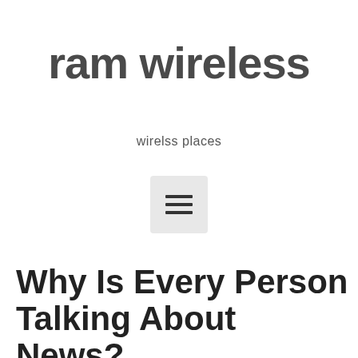ram wireless
wirelss places
[Figure (other): Hamburger menu icon — three horizontal bars inside a light gray rounded square button]
Why Is Every Person Talking About News?